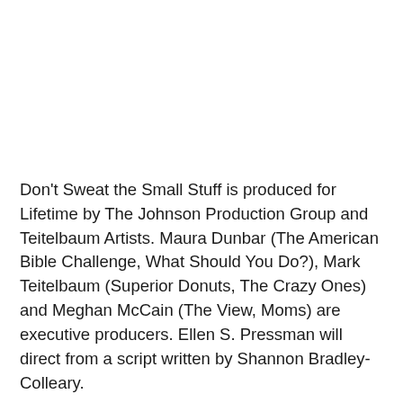Don't Sweat the Small Stuff is produced for Lifetime by The Johnson Production Group and Teitelbaum Artists. Maura Dunbar (The American Bible Challenge, What Should You Do?), Mark Teitelbaum (Superior Donuts, The Crazy Ones) and Meghan McCain (The View, Moms) are executive producers. Ellen S. Pressman will direct from a script written by Shannon Bradley-Colleary.